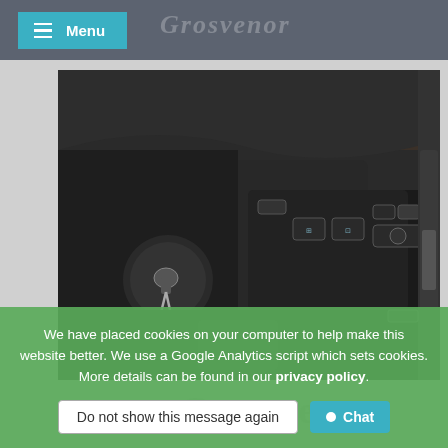Menu | Grosvenor
[Figure (photo): Car interior showing dashboard controls: ignition key slot with keys, panel with buttons including window and mirror controls, and a multi-function control module on the lower dashboard.]
Garage
We have placed cookies on your computer to help make this website better. We use a Google Analytics script which sets cookies. More details can be found in our privacy policy.
Do not show this message again
Chat